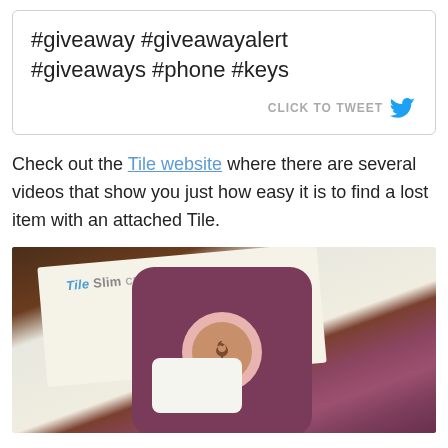[Figure (screenshot): Tweet/click-to-tweet box with hashtags: #giveaway #giveawayalert #giveaways #phone #keys, with a blue Twitter bird icon and CLICK TO TWEET label]
Check out the Tile website where there are several videos that show you just how easy it is to find a lost item with an attached Tile.
[Figure (photo): Photo of a purple/maroon phone case (OtterBox style) with a circular cutout revealing a pink/rose gold iPhone, placed on top of a Tile Slim product box on a wooden surface]